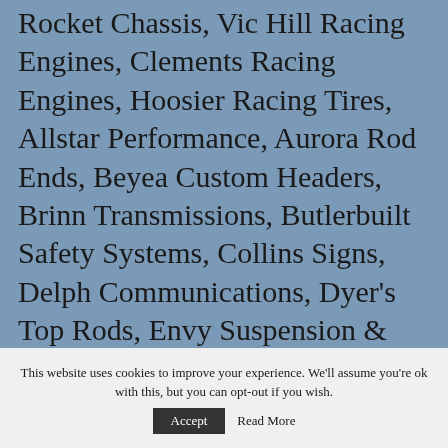Rocket Chassis, Vic Hill Racing Engines, Clements Racing Engines, Hoosier Racing Tires, Allstar Performance, Aurora Rod Ends, Beyea Custom Headers, Brinn Transmissions, Butlerbuilt Safety Systems, Collins Signs, Delph Communications, Dyer's Top Rods, Envy Suspension & Race Consultants , Five Star Performance Bodies, Frankland Racing Supply, Hooker Harness, Hypercoils, Integra Racing Shocks, Jones Racing Products, K&L Motorsports, KB Carburetors, Outerwears, Out-Pace Racing Products, Peterson Fluid
This website uses cookies to improve your experience. We'll assume you're ok with this, but you can opt-out if you wish. Accept Read More